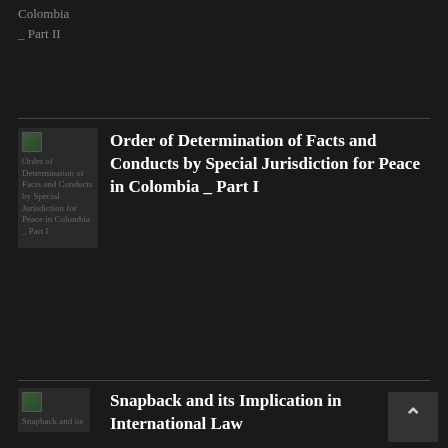Colombia _ Part II
[Figure (other): Thumbnail image for Order of Determination of Facts and Conducts by Special Jurisdiction for Peace in Colombia _ Part I]
Order of Determination of Facts and Conducts by Special Jurisdiction for Peace in Colombia _ Part I
[Figure (other): Thumbnail image for Snapback and its Implication in International Law]
Snapback and its Implication in International Law